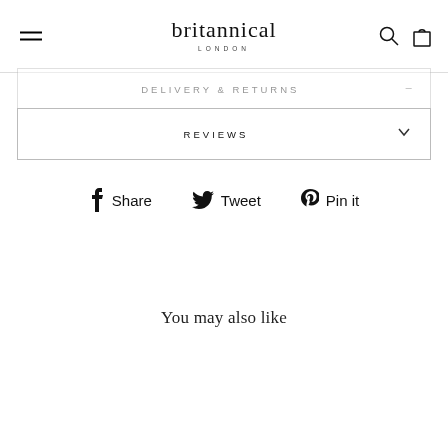britannical LONDON
DELIVERY & RETURNS
REVIEWS
Share   Tweet   Pin it
You may also like